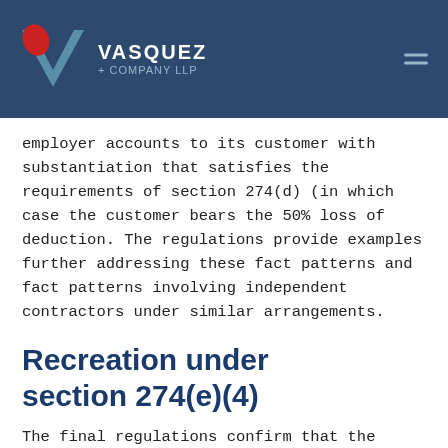VASQUEZ + COMPANY LLP
employer accounts to its customer with substantiation that satisfies the requirements of section 274(d) (in which case the customer bears the 50% loss of deduction. The regulations provide examples further addressing these fact patterns and fact patterns involving independent contractors under similar arrangements.
Recreation under section 274(e)(4)
The final regulations confirm that the